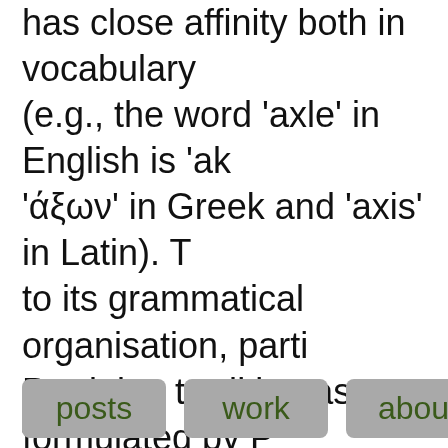has close affinity both in vocabulary (e.g., the word 'axle' in English is 'ak 'άξων' in Greek and 'axis' in Latin). T to its grammatical organisation, parti Pāṇinian tradition as formulated by P the Aṣṭādhyāyī¹. Written about 2500 divided into eight books (𑀆𑀞𑀸 𑀅𑀟𑁆𑀬𑀸𑀬 )
posts
work
about